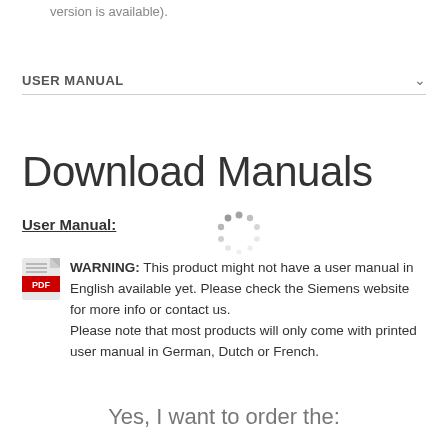version is available).
USER MANUAL
Download Manuals
User Manual:
[Figure (other): Loading spinner animation (circular dots)]
WARNING: This product might not have a user manual in English available yet. Please check the Siemens website for more info or contact us.
Please note that most products will only come with printed user manual in German, Dutch or French.
Yes, I want to order the: